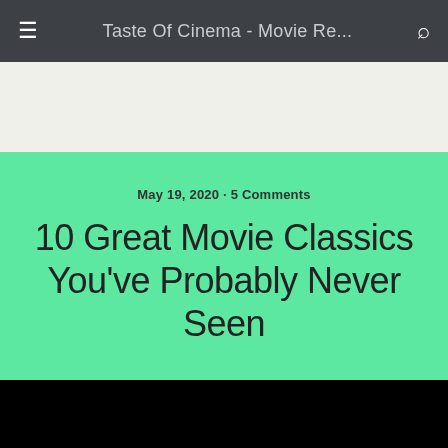Taste Of Cinema - Movie Re...
May 19, 2020 · 5 Comments
10 Great Movie Classics You've Probably Never Seen
[Figure (photo): Black section at the bottom, likely a movie image area]